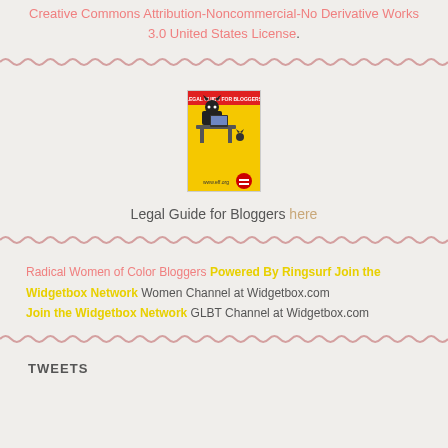Creative Commons Attribution-Noncommercial-No Derivative Works 3.0 United States License.
[Figure (illustration): Yellow poster with black cartoon cat character sitting at a desk, EFF Legal Guide for Bloggers badge, www.eff.org]
Legal Guide for Bloggers here
Radical Women of Color Bloggers Powered By Ringsurf Join the Widgetbox Network Women Channel at Widgetbox.com Join the Widgetbox Network GLBT Channel at Widgetbox.com
TWEETS